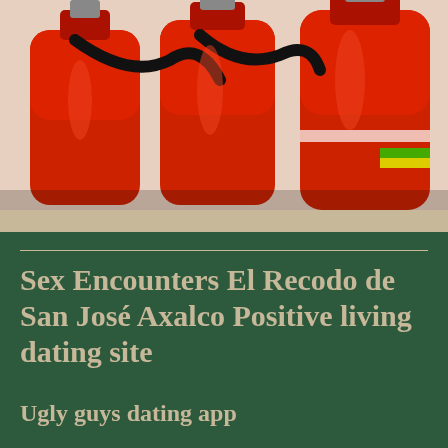[Figure (photo): Three red fire extinguishers mounted side by side with black hoses, close-up photo]
Sex Encounters El Recodo de San José Axalco Positive living dating site
Ugly guys dating app